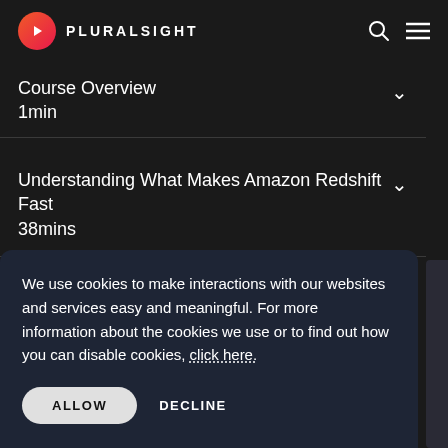[Figure (logo): Pluralsight logo with pink/orange circular play button icon and PLURALSIGHT text in white]
Course Overview
1min
Understanding What Makes Amazon Redshift Fast
38mins
We use cookies to make interactions with our websites and services easy and meaningful. For more information about the cookies we use or to find out how you can disable cookies, click here.
ALLOW   DECLINE